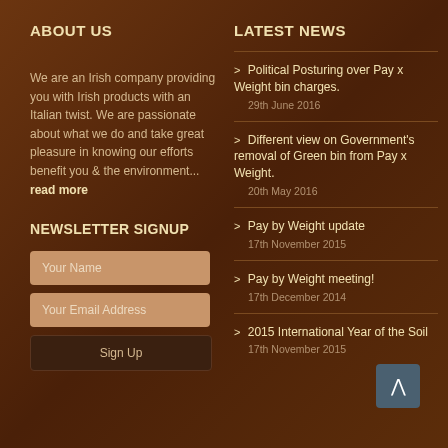ABOUT US
We are an Irish company providing you with Irish products with an Italian twist. We are passionate about what we do and take great pleasure in knowing our efforts benefit you & the environment... read more
NEWSLETTER SIGNUP
Your Name (input field)
Your Email Address (input field)
Sign Up (button)
LATEST NEWS
Political Posturing over Pay x Weight bin charges. 29th June 2016
Different view on Government's removal of Green bin from Pay x Weight. 20th May 2016
Pay by Weight update 17th November 2015
Pay by Weight meeting! 17th December 2014
2015 International Year of the Soil 17th November 2015